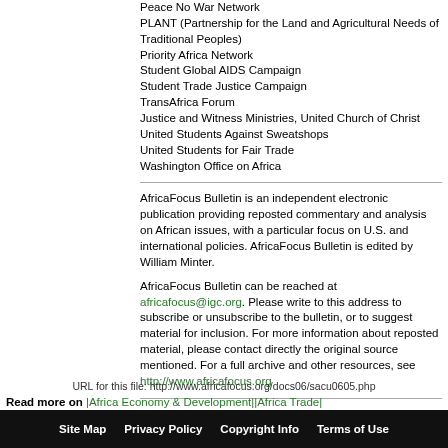Peace No War Network
PLANT (Partnership for the Land and Agricultural Needs of Traditional Peoples)
Priority Africa Network
Student Global AIDS Campaign
Student Trade Justice Campaign
TransAfrica Forum
Justice and Witness Ministries, United Church of Christ
United Students Against Sweatshops
United Students for Fair Trade
Washington Office on Africa
AfricaFocus Bulletin is an independent electronic publication providing reposted commentary and analysis on African issues, with a particular focus on U.S. and international policies. AfricaFocus Bulletin is edited by William Minter.
AfricaFocus Bulletin can be reached at africafocus@igc.org. Please write to this address to subscribe or unsubscribe to the bulletin, or to suggest material for inclusion. For more information about reposted material, please contact directly the original source mentioned. For a full archive and other resources, see http://www.africafocus.org
Read more on |Africa Economy & Development||Africa Trade|
URL for this file: http://www.africafocus.org/docs06/sacu0605.php
Site Map   Privacy Policy   Copyright Info   Terms of Use